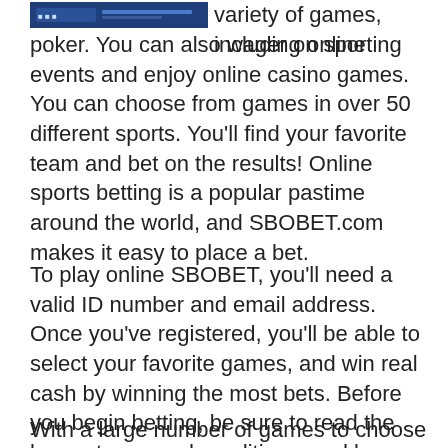[Figure (screenshot): Small screenshot or banner image in top-left corner, dark blue background with text/icons]
variety of games, including online poker. You can also wager on sporting events and enjoy online casino games. You can choose from games in over 50 different sports. You'll find your favorite team and bet on the results! Online sports betting is a popular pastime around the world, and SBOBET.com makes it easy to place a bet.
To play online SBOBET, you'll need a valid ID number and email address. Once you've registered, you'll be able to select your favorite games, and win real cash by winning the most bets. Before you begin betting, be sure to read the bonus terms and conditions, and be smart about your decisions. Sbobet has great payout rates and a reputation for fairness. You can even make money from home with the help of an app.
With a large number of games to choose from, online SBOBET is perfect for any type of gambling enthusiast.